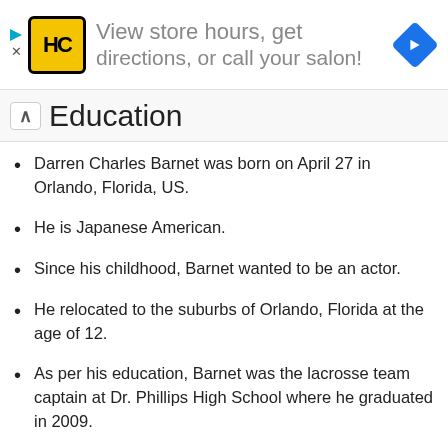[Figure (screenshot): Advertisement banner for a hair salon app showing HC logo, text 'View store hours, get directions, or call your salon!' and a blue navigation diamond icon]
Education
Darren Charles Barnet was born on April 27 in Orlando, Florida, US.
He is Japanese American.
Since his childhood, Barnet wanted to be an actor.
He relocated to the suburbs of Orlando, Florida at the age of 12.
As per his education, Barnet was the lacrosse team captain at Dr. Phillips High School where he graduated in 2009.
He acted in plays and short films while attending Berry